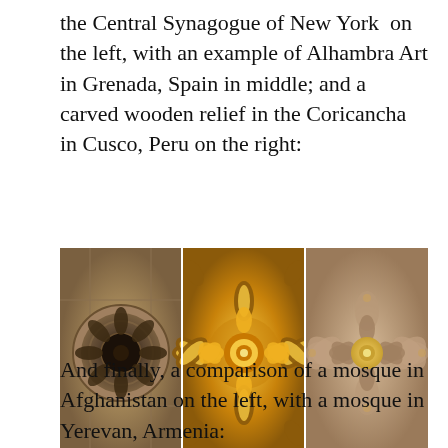the Central Synagogue of New York on the left, with an example of Alhambra Art in Grenada, Spain in middle; and a carved wooden relief in the Coricancha in Cusco, Peru on the right:
[Figure (photo): Three panel photo showing decorative art patterns: left panel is a circular geometric stone window pattern from the Central Synagogue of New York; middle panel is a golden ornate floral carved wood mandala pattern from the Alhambra in Granada, Spain; right panel is a carved wooden relief floral pattern from the Coricancha in Cusco, Peru.]
And finally, a comparison of a mosque in Afghanistan on the left, with a mosque in Yerevan, Armenia: